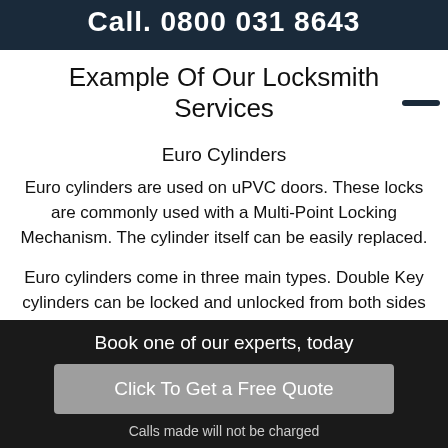Call. 0800 031 8643
Example Of Our Locksmith Services
Euro Cylinders
Euro cylinders are used on uPVC doors. These locks are commonly used with a Multi-Point Locking Mechanism. The cylinder itself can be easily replaced.
Euro cylinders come in three main types. Double Key cylinders can be locked and unlocked from both sides of the door. Key and Turn cylinders can only be locked and unlocked using a key on one side of
Book one of our experts, today
Click To Get a Free Quote
Calls made will not be charged